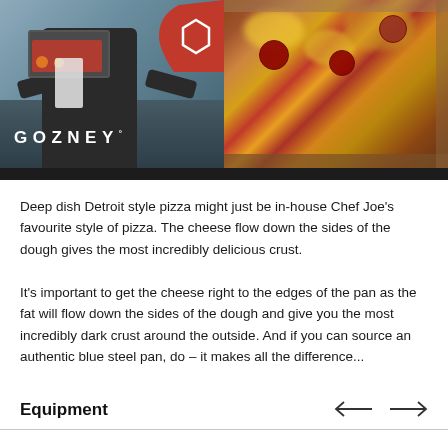[Figure (photo): Hero image split into two halves: left side shows a chef in dark apron holding a rectangular deep dish pizza pan with colorful toppings, with GOZNEY logo text visible and a red brand mark in upper right corner; right side shows a close-up photo of a Detroit-style deep dish pizza with melted cheese and red sauce toppings in a rectangular pan.]
Deep dish Detroit style pizza might just be in-house Chef Joe’s favourite style of pizza. The cheese flow down the sides of the dough gives the most incredibly delicious crust.
It’s important to get the cheese right to the edges of the pan as the fat will flow down the sides of the dough and give you the most incredibly dark crust around the outside. And if you can source an authentic blue steel pan, do – it makes all the difference...
Equipment